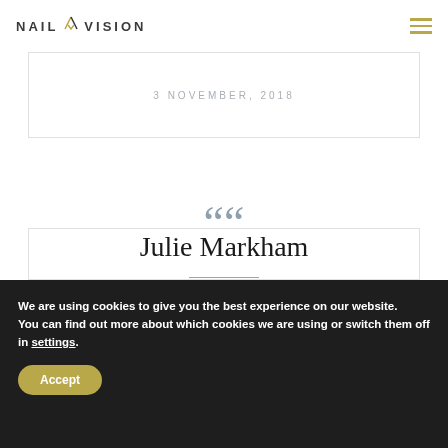NAIL VISION
3 NOVEMBER, 2018
““
Julie Markham
We are using cookies to give you the best experience on our website.
You can find out more about which cookies we are using or switch them off in settings.
Accept